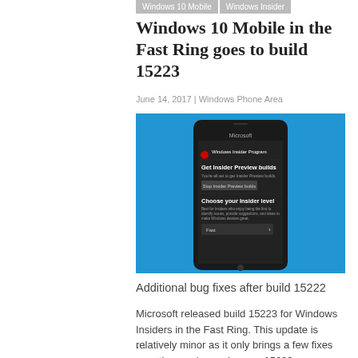Windows 10 Mobile
Windows Insider
Windows 10 Mobile in the Fast Ring goes to build 15223
June 14, 2017 | Windows Phone Area
[Figure (screenshot): Screenshot of a Windows phone showing the Windows Insider Program app with options to get Insider Preview builds and choose your Insider level, with Fast ring selected. Blue background.]
Additional bug fixes after build 15222
Microsoft released build 15223 for Windows Insiders in the Fast Ring. This update is relatively minor as it only brings a few fixes over the previous release – 15222. Consequently, there is no reason …
Read More